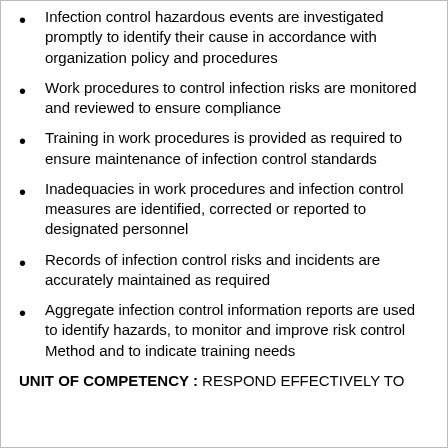Infection control hazardous events are investigated promptly to identify their cause in accordance with organization policy and procedures
Work procedures to control infection risks are monitored and reviewed to ensure compliance
Training in work procedures is provided as required to ensure maintenance of infection control standards
Inadequacies in work procedures and infection control measures are identified, corrected or reported to designated personnel
Records of infection control risks and incidents are accurately maintained as required
Aggregate infection control information reports are used to identify hazards, to monitor and improve risk control Method and to indicate training needs
UNIT OF COMPETENCY : RESPOND EFFECTIVELY TO